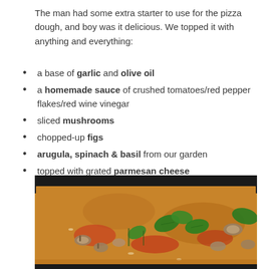The man had some extra starter to use for the pizza dough, and boy was it delicious. We topped it with anything and everything:
a base of garlic and olive oil
a homemade sauce of crushed tomatoes/red pepper flakes/red wine vinegar
sliced mushrooms
chopped-up figs
arugula, spinach & basil from our garden
topped with grated parmesan cheese
[Figure (photo): Photo of a homemade pizza in a dark pan, topped with mushrooms, fresh basil leaves, tomato sauce, and greens, showing a golden-brown sourdough crust.]